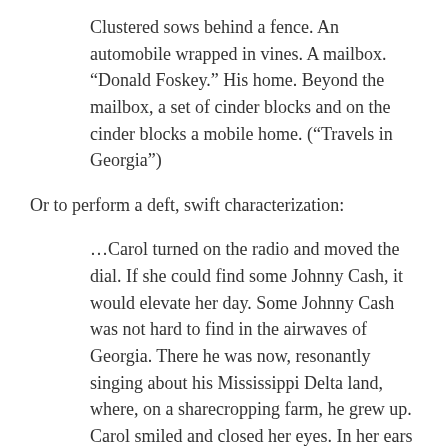Clustered sows behind a fence. An automobile wrapped in vines. A mailbox. “Donald Foskey.” His home. Beyond the mailbox, a set of cinder blocks and on the cinder blocks a mobile home. (“Travels in Georgia”)
Or to perform a deft, swift characterization:
…Carol turned on the radio and moved the dial. If she could find some Johnny Cash, it would elevate her day. Some Johnny Cash was not hard to find in the airwaves of Georgia. There he was now, resonantly singing about his Mississippi Delta land, where, on a sharecropping farm, he grew up. Carol smiled and closed her eyes. In her ears — pierced ears — were gold maple leaves that seemed to move under the influence of the music.
Facts — accurate facts, astutely observed details — are the heart of journalism, but they’re also the heart of any writing, fiction, essay, and even poetry included. You doubt it? Check